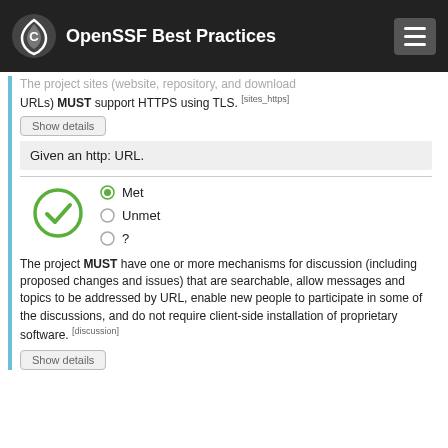OpenSSF Best Practices
The project sites (website, repository, and download URLs) MUST support HTTPS using TLS. [sites_https]
Show details
Given an http: URL.
[Figure (infographic): Green circle with checkmark icon indicating 'Met' status]
Met
Unmet
?
The project MUST have one or more mechanisms for discussion (including proposed changes and issues) that are searchable, allow messages and topics to be addressed by URL, enable new people to participate in some of the discussions, and do not require client-side installation of proprietary software. [discussion]
Show details